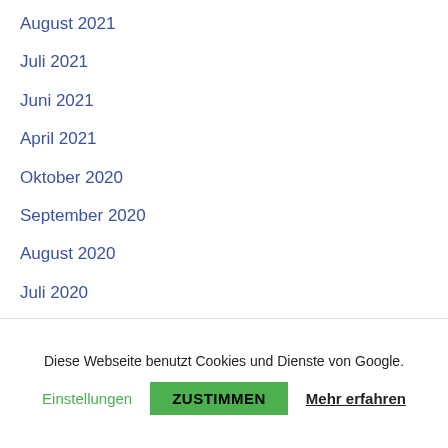August 2021
Juli 2021
Juni 2021
April 2021
Oktober 2020
September 2020
August 2020
Juli 2020
Juni 2020
April 2020
März 2020
Diese Webseite benutzt Cookies und Dienste von Google.
Einstellungen  ZUSTIMMEN  Mehr erfahren